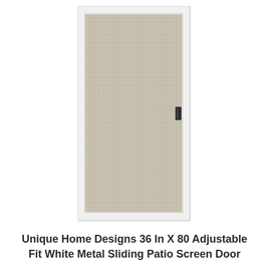[Figure (photo): A white metal sliding patio screen door with a white rectangular frame, beige/gray mesh screen panel, and a small dark handle on the right side, shown against a white background.]
Unique Home Designs 36 In X 80 Adjustable Fit White Metal Sliding Patio Screen Door